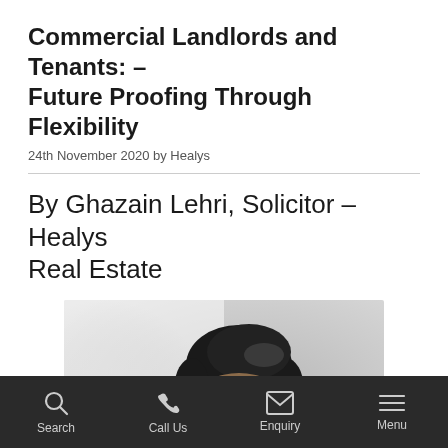Commercial Landlords and Tenants: – Future Proofing Through Flexibility
24th November 2020 by Healys
By Ghazain Lehri, Solicitor – Healys Real Estate
[Figure (photo): Professional headshot of Ghazain Lehri, a man with dark hair, against a grey background]
Search  Call Us  Enquiry  Menu